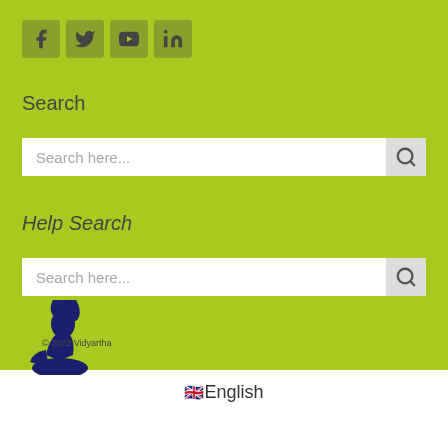[Figure (logo): Social media icons: Facebook, Twitter, YouTube, LinkedIn on green background]
Search
[Figure (screenshot): Search input box with placeholder 'Search here...' and magnifying glass button]
Help Search
[Figure (screenshot): Help search input box with placeholder 'Search here...' and magnifying glass button]
[Figure (logo): Vidyartha logo - dark blue figure sitting, reading]
© 2022 Vidyartha
🇬🇧 English